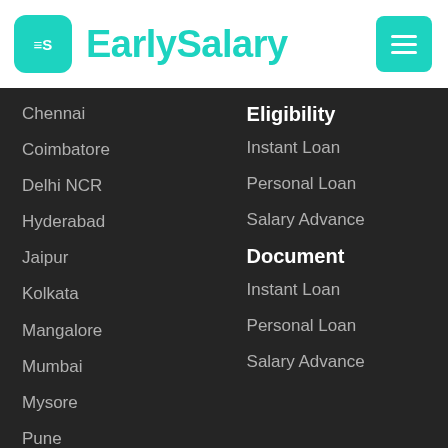EarlySalary
Chennai
Coimbatore
Delhi NCR
Hyderabad
Jaipur
Kolkata
Mangalore
Mumbai
Mysore
Pune
Secunderabad
Surat
Vadodara
Vijaywada
Visakhapatnam (Vizag)
Eligibility
Instant Loan
Personal Loan
Salary Advance
Document
Instant Loan
Personal Loan
Salary Advance